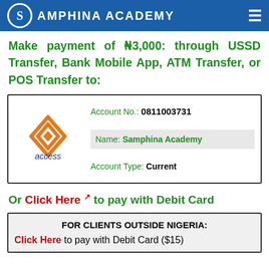Samphina Academy
Make payment of ₦3,000: through USSD Transfer, Bank Mobile App, ATM Transfer, or POS Transfer to:
| Account No.: 0811003731 |
| Name: Samphina Academy |
| Account Type: Current |
Or Click Here to pay with Debit Card
FOR CLIENTS OUTSIDE NIGERIA:
Click Here to pay with Debit Card ($15)